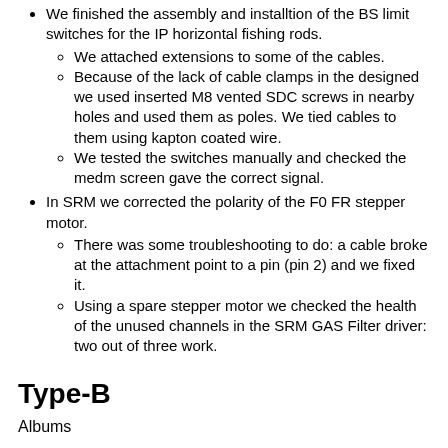We finished the assembly and installtion of the BS limit switches for the IP horizontal fishing rods.
We attached extensions to some of the cables.
Because of the lack of cable clamps in the designed we used inserted M8 vented SDC screws in nearby holes and used them as poles. We tied cables to them using kapton coated wire.
We tested the switches manually and checked the medm screen gave the correct signal.
In SRM we corrected the polarity of the F0 FR stepper motor.
There was some troubleshooting to do: a cable broke at the attachment point to a pin (pin 2) and we fixed it.
Using a spare stepper motor we checked the health of the unused channels in the SRM GAS Filter driver: two out of three work.
Type-B
Albums